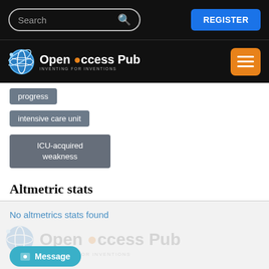[Figure (screenshot): Top navigation bar with Search input and REGISTER button on black background]
[Figure (logo): Open Access Pub logo with globe icon on black background and orange hamburger menu button]
progress
intensive care unit
ICU-acquired weakness
Altmetric stats
No altmetrics stats found
[Figure (logo): Faded watermark of Open Access Pub logo with Message button overlay]